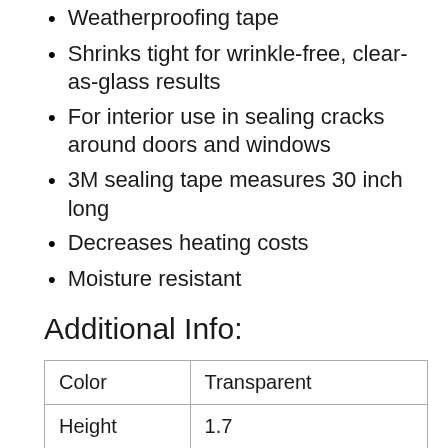Weatherproofing tape
Shrinks tight for wrinkle-free, clear-as-glass results
For interior use in sealing cracks around doors and windows
3M sealing tape measures 30 inch long
Decreases heating costs
Moisture resistant
Additional Info:
| Color | Transparent |
| --- | --- |
| Height | 1.7 |
| Width | 4 |
| Length | 8.3 |